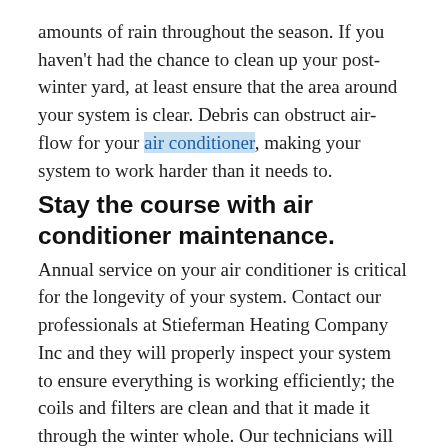amounts of rain throughout the season. If you haven't had the chance to clean up your post-winter yard, at least ensure that the area around your system is clear. Debris can obstruct air-flow for your air conditioner, making your system to work harder than it needs to.
Stay the course with air conditioner maintenance.
Annual service on your air conditioner is critical for the longevity of your system. Contact our professionals at Stieferman Heating Company Inc and they will properly inspect your system to ensure everything is working efficiently; the coils and filters are clean and that it made it through the winter whole. Our technicians will look for small problems too, making sure that nothing turns into a large problem toward the end of your air conditioner usage for the season.
Contact us at 573-625-2547 to schedule your